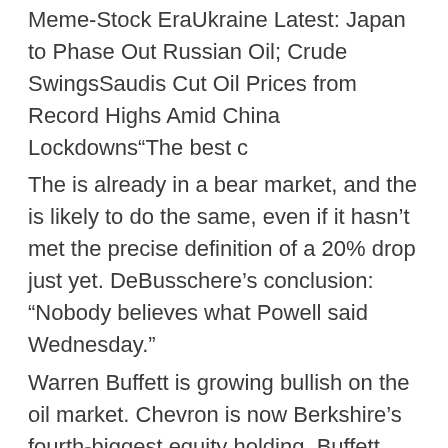Meme-Stock EraUkraine Latest: Japan to Phase Out Russian Oil; Crude SwingsSaudis Cut Oil Prices from Record Highs Amid China Lockdowns"The best c
The is already in a bear market, and the is likely to do the same, even if it hasn't met the precise definition of a 20% drop just yet. DeBusschere's conclusion: "Nobody believes what Powell said Wednesday."
Warren Buffett is growing bullish on the oil market. Chevron is now Berkshire's fourth-biggest equity holding. Buffett also owns a significant stake in Occidental Petroleum after buying $7 billion in shares last month to complement his legacy investment in the oil giant. Inflation, tightening monetary policy, China's COVID lockdowns and the war in Ukraine...